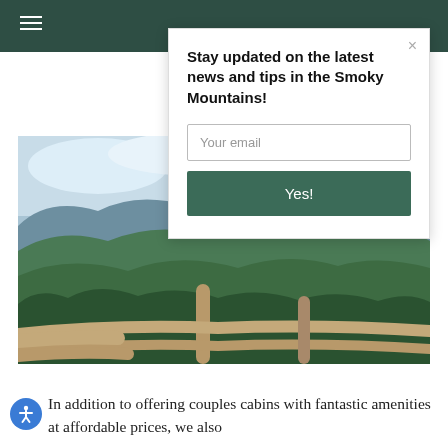Stay updated on the latest news and tips in the Smoky Mountains!
[Figure (photo): Mountain landscape with green forested hills and blue sky with clouds, viewed through a rustic wooden log fence railing in the foreground]
In addition to offering couples cabins with fantastic amenities at affordable prices, we also